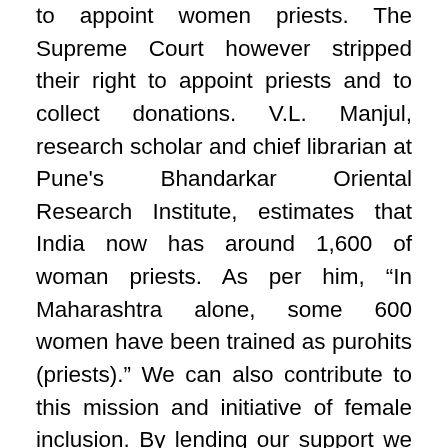to appoint women priests. The Supreme Court however stripped their right to appoint priests and to collect donations. V.L. Manjul, research scholar and chief librarian at Pune's Bhandarkar Oriental Research Institute, estimates that India now has around 1,600 of woman priests. As per him, “In Maharashtra alone, some 600 women have been trained as purohits (priests).” We can also contribute to this mission and initiative of female inclusion. By lending our support we would not only be vouching for equality for woman but also bring back the ancient tradition which existed 5000 years back. This positive inclusion will make our tradition more rich, diverse and free of any bias, leaving no room for manipulation. Lack of information about various aspects of religious ceremonies and rituals always leave them prone to manipulation. With the